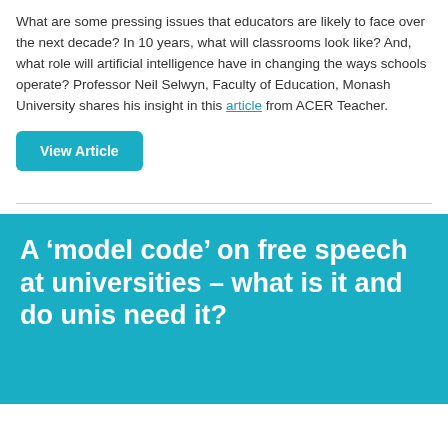What are some pressing issues that educators are likely to face over the next decade? In 10 years, what will classrooms look like? And, what role will artificial intelligence have in changing the ways schools operate? Professor Neil Selwyn, Faculty of Education, Monash University shares his insight in this article from ACER Teacher.
View Article
A ‘model code’ on free speech at universities – what is it and do unis need it?